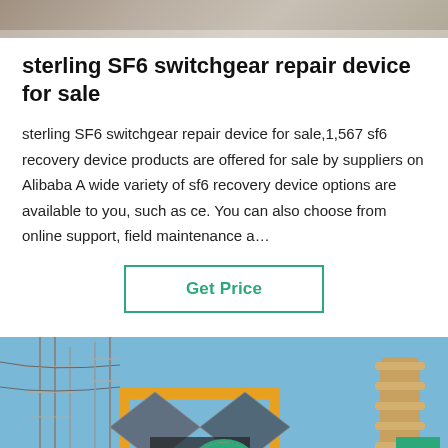[Figure (photo): Top partial photo showing a blurred background scene, appears to be outdoor industrial setting]
sterling SF6 switchgear repair device for sale
sterling SF6 switchgear repair device for sale,1,567 sf6 recovery device products are offered for sale by suppliers on Alibaba A wide variety of sf6 recovery device options are available to you, such as ce. You can also choose from online support, field maintenance a…
Get Price
[Figure (photo): Photo of an electrical substation with SF6 switchgear equipment, showing yellow crane/frame structure, open panels, and high voltage equipment against a blue sky. Bottom bar shows Leave Message and Chat Online buttons with a customer service agent avatar.]